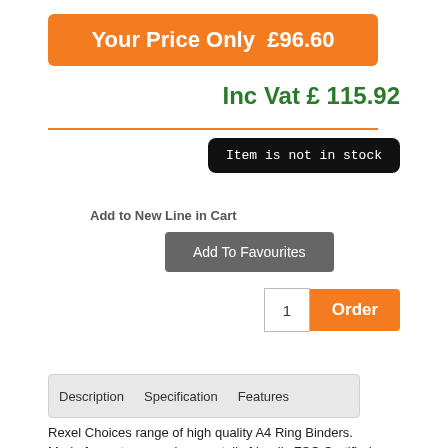Your Price Only  £96.60
Inc Vat £ 115.92
Item is not in stock
Add to New Line in Cart
Add To Favourites
1
Order
Description    Specification    Features
Rexel Choices range of high quality A4 Ring Binders. Made from strong environmentally friendly FSC Certified board covered with wipe clean polypropylene. Featuring a high capacity